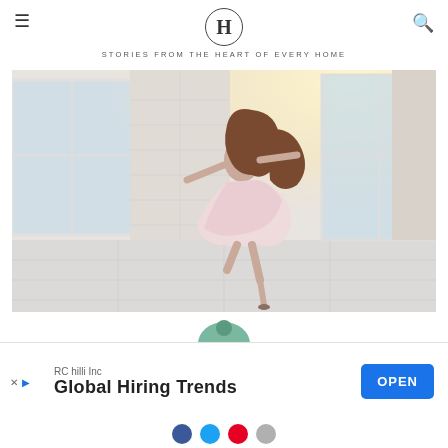H — STORIES FROM THE HEART OF EVERY HOME
[Figure (photo): A girl in a pink tulle dress spinning/dancing in a bright white room with large windows and natural light.]
[Figure (photo): Partial circular avatar/profile image visible at the bottom below the main photo.]
[Figure (infographic): Advertisement banner: RC hilli Inc — Global Hiring Trends — OPEN button. With ad dismiss X and play icons at left.]
[Figure (infographic): Social sharing strip with Facebook, Twitter, Pinterest, and email/other circular icon buttons.]